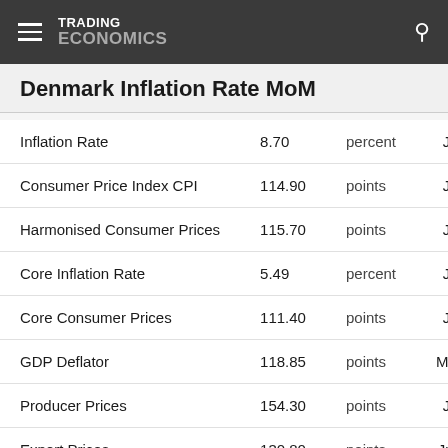TRADING ECONOMICS
Denmark Inflation Rate MoM
|  |  |  |  |
| --- | --- | --- | --- |
| Inflation Rate | 8.70 | percent | Jul 2022 |
| Consumer Price Index CPI | 114.90 | points | Jul 2022 |
| Harmonised Consumer Prices | 115.70 | points | Jul 2022 |
| Core Inflation Rate | 5.49 | percent | Jul 2022 |
| Core Consumer Prices | 111.40 | points | Jul 2022 |
| GDP Deflator | 118.85 | points | Mar 2022 |
| Producer Prices | 154.30 | points | Jul 2022 |
| Export Prices | 130.80 | points | Jun 2022 |
| Import Prices | 120.30 | points | Jun 2022 |